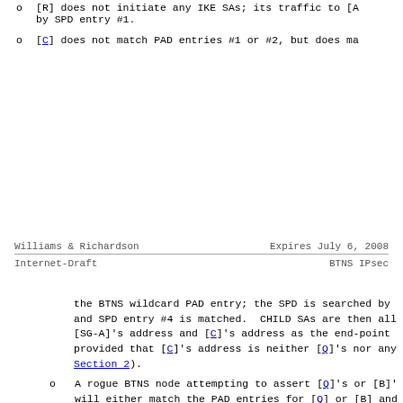[R] does not initiate any IKE SAs; its traffic to [A by SPD entry #1.
[C] does not match PAD entries #1 or #2, but does ma
Williams & Richardson          Expires July 6, 2008
Internet-Draft                        BTNS IPsec
the BTNS wildcard PAD entry; the SPD is searched by and SPD entry #4 is matched. CHILD SAs are then all [SG-A]'s address and [C]'s address as the end-point provided that [C]'s address is neither [Q]'s nor any Section 2).
A rogue BTNS node attempting to assert [Q]'s or [B]' will either match the PAD entries for [Q] or [B] and authenticate as [Q] or [B], in which case they are n they will match PAD entry #3 but will not be allowed CHILD SAs with [Q]'s or [B]'s addresses as traffic s
A rogue BTNS nodes attempting to assert [C]'s addres succeed. Protection for [C] requires additional bin specific BTNS ID (that is, its public key) to its tr through connection latching and channel binding or